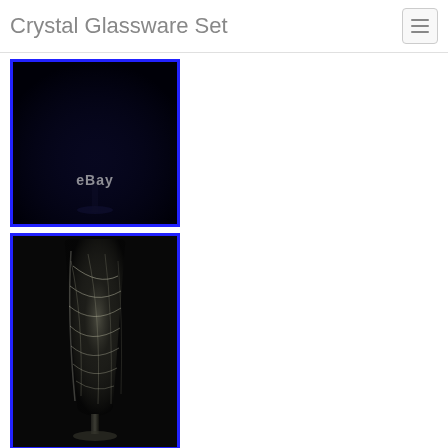Crystal Glassware Set
[Figure (photo): Dark background photo of crystal glassware set with eBay watermark text visible in the lower center of the image]
[Figure (photo): Photo of a crystal champagne flute glass with etched swirl/spiral pattern on a dark background]